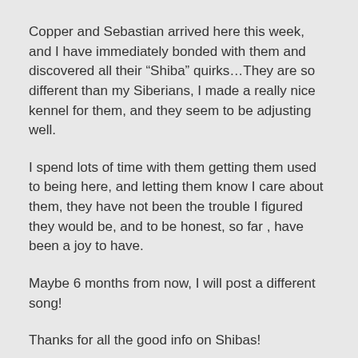Copper and Sebastian arrived here this week, and I have immediately bonded with them and discovered all their “Shiba” quirks…They are so different than my Siberians, I made a really nice kennel for them, and they seem to be adjusting well.
I spend lots of time with them getting them used to being here, and letting them know I care about them, they have not been the trouble I figured they would be, and to be honest, so far , have been a joy to have.
Maybe 6 months from now, I will post a different song!
Thanks for all the good info on Shibas!
Reply